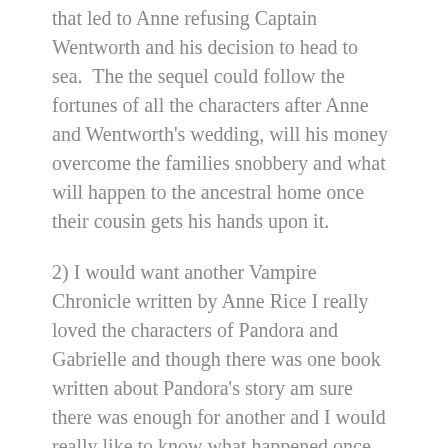that led to Anne refusing Captain Wentworth and his decision to head to sea.  The the sequel could follow the fortunes of all the characters after Anne and Wentworth's wedding, will his money overcome the families snobbery and what will happen to the ancestral home once their cousin gets his hands upon it.
2) I would want another Vampire Chronicle written by Anne Rice I really loved the characters of Pandora and Gabrielle and though there was one book written about Pandora's story am sure there was enough for another and I would really like to know what happened once Gabrielle gained her immortal freedom from her husbands tyranny.
3)  I would actually want more in the Harry Potter series while I fully accept that the place she stopped does make